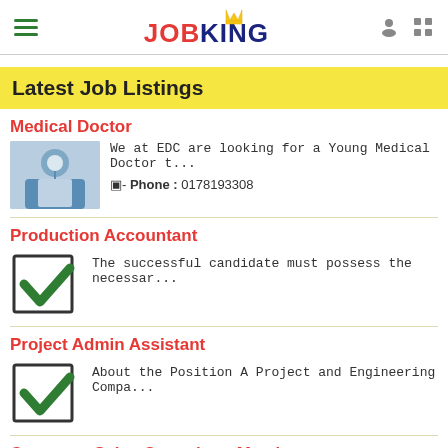JOBKING - Job Listings App Header
Latest Job Listings
Medical Doctor
We at EDC are looking for a Young Medical Doctor t...
Phone : 0178193308
Production Accountant
The successful candidate must possess the necessar...
Project Admin Assistant
About the Position A Project and Engineering Compa...
Customer Sales Consultant Metal
Company:Wurth South Africa Reference #:RS 26/7/201...